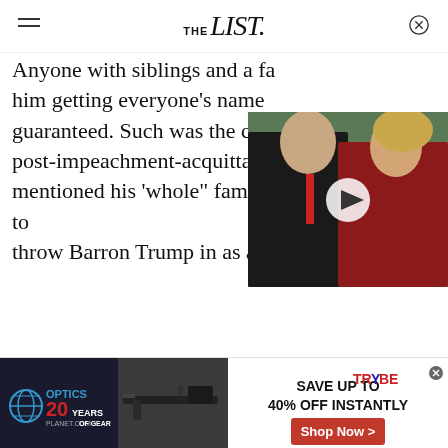THE List
Anyone with siblings and a fa him getting everyone's name guaranteed. Such was the ca post-impeachment-acquitta mentioned his 'whole" family and then seemed to throw Barron Trump in as an afterthought.
[Figure (photo): A man in a dark suit and red tie and a woman in a red jacket walking, with a video play button overlay.]
[Figure (infographic): Advertisement banner: Optics Planet 20 Years - Save up to 40% off instantly - Shop Now button with rifle optics image]